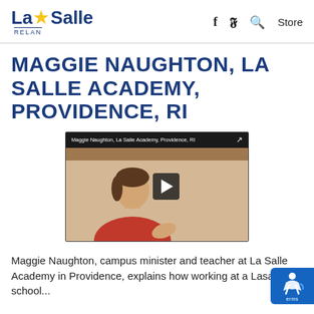La Salle RELAN | f | Twitter | Search | Store
MAGGIE NAUGHTON, LA SALLE ACADEMY, PROVIDENCE, RI
[Figure (screenshot): Video thumbnail showing Maggie Naughton, La Salle Academy, Providence, RI. A woman in a red sweater sits at a table, with a play button overlay on the right side. The video title bar reads 'Maggie Naughton, La Salle Academy, Providence, RI'.]
Maggie Naughton, campus minister and teacher at La Salle Academy in Providence, explains how working at a Lasallian school...